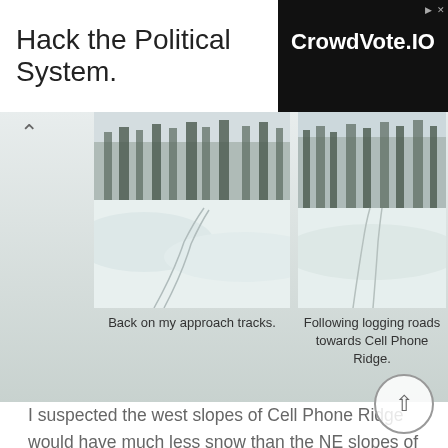[Figure (screenshot): Advertisement banner: 'Hack the Political System.' with CrowdVote.IO logo on dark background]
[Figure (photo): Snowy forest scene with ski tracks in fresh snow, trees in background — left photo]
Back on my approach tracks.
[Figure (photo): Snowy logging road winding through forest — right photo]
Following logging roads towards Cell Phone Ridge.
I suspected the west slopes of Cell Phone Ridge would have much less snow than the NE slopes of Johnson Ridge had, and I was bang on. I easily slogged my way up to the summit with the heel risers on my snowshoes making the ascent downright pleasurable. It was truly strange how much I was enjoying myself at this point considering how dull the weather was and how much work it was to break trail in all the snow